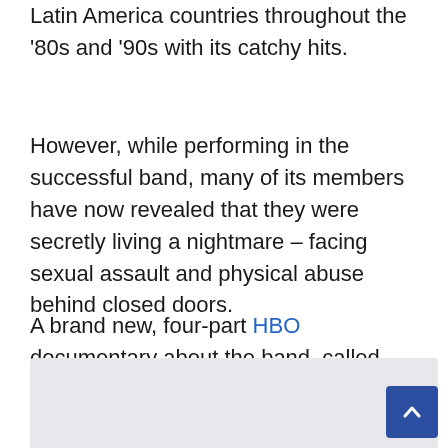20 million records worldwide and taking over many Latin America countries throughout the '80s and '90s with its catchy hits.
However, while performing in the successful band, many of its members have now revealed that they were secretly living a nightmare – facing sexual assault and physical abuse behind closed doors.
A brand new, four-part HBO documentary about the band, called Menudo: Forever Young, which premiered on June 23, has now brought the alleged abuse to light.
[Figure (other): Gray placeholder box at the bottom of the page with a blue scroll-to-top button in the bottom right corner]